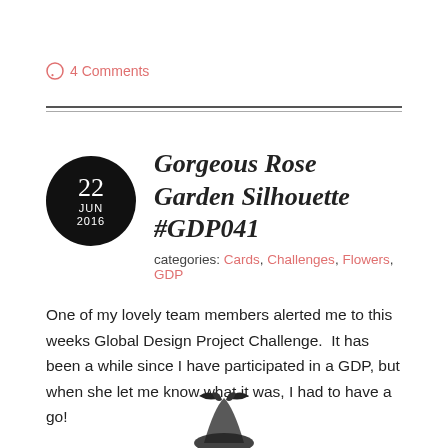○ 4 Comments
Gorgeous Rose Garden Silhouette #GDP041
categories: Cards, Challenges, Flowers, GDP
One of my lovely team members alerted me to this weeks Global Design Project Challenge.  It has been a while since I have participated in a GDP, but when she let me know what it was, I had to have a go!
[Figure (illustration): Partial view of a rose/flower silhouette illustration at the bottom of the page]